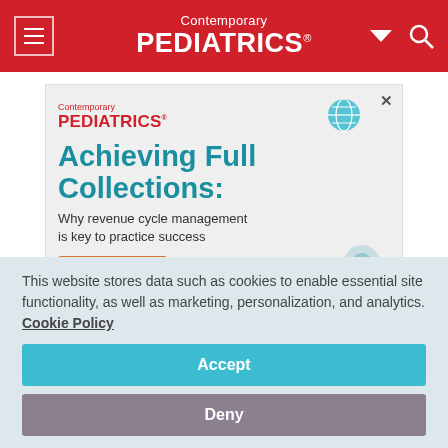Contemporary PEDIATRICS
[Figure (illustration): Contemporary Pediatrics advertisement: Achieving Full Collections: Why revenue cycle management is key to practice success. Read Now button. Teal/blue decorative graphic elements on right side.]
This website stores data such as cookies to enable essential site functionality, as well as marketing, personalization, and analytics. Cookie Policy
Accept
Deny